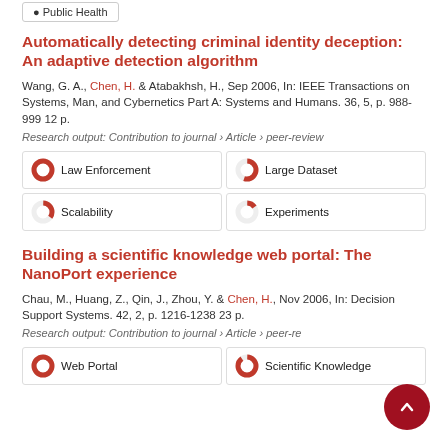Public Health
Automatically detecting criminal identity deception: An adaptive detection algorithm
Wang, G. A., Chen, H. & Atabakhsh, H., Sep 2006, In: IEEE Transactions on Systems, Man, and Cybernetics Part A: Systems and Humans. 36, 5, p. 988-999 12 p.
Research output: Contribution to journal › Article › peer-review
Law Enforcement | Large Dataset | Scalability | Experiments
Building a scientific knowledge web portal: The NanoPort experience
Chau, M., Huang, Z., Qin, J., Zhou, Y. & Chen, H., Nov 2006, In: Decision Support Systems. 42, 2, p. 1216-1238 23 p.
Research output: Contribution to journal › Article › peer-review
Web Portal | Scientific Knowledge